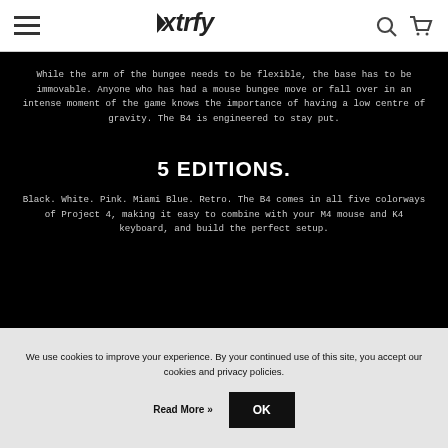Xtrfy — navigation header with hamburger menu, logo, search and cart icons
While the arm of the bungee needs to be flexible, the base has to be immovable. Anyone who has had a mouse bungee move or fall over in an intense moment of the game knows the importance of having a low centre of gravity. The B4 is engineered to stay put.
5 EDITIONS.
Black. White. Pink. Miami Blue. Retro. The B4 comes in all five colorways of Project 4, making it easy to combine with your M4 mouse and K4 keyboard, and build the perfect setup.
We use cookies to improve your experience. By your continued use of this site, you accept our cookies and privacy policies.